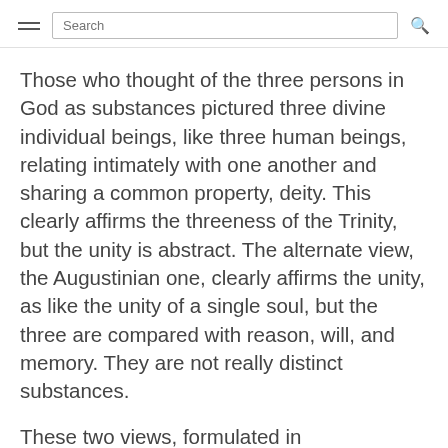Search
Those who thought of the three persons in God as substances pictured three divine individual beings, like three human beings, relating intimately with one another and sharing a common property, deity. This clearly affirms the threeness of the Trinity, but the unity is abstract. The alternate view, the Augustinian one, clearly affirms the unity, as like the unity of a single soul, but the three are compared with reason, will, and memory. They are not really distinct substances.
These two views, formulated in